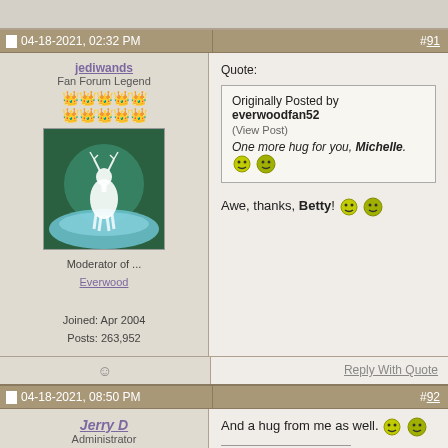04-18-2021, 02:32 PM  #91
jediwands
Fan Forum Legend
Moderator of ...
Everwood
Joined: Apr 2004
Posts: 263,952
Quote: Originally Posted by everwoodfan52 (View Post) One more hug for you, Michelle. [smileys]
Awe, thanks, Betty! [smileys]
Reply With Quote
04-18-2021, 08:50 PM  #92
Jerry D
Administrator
And a hug from me as well. [smileys]
The energy, the faith, the devotion which we bring